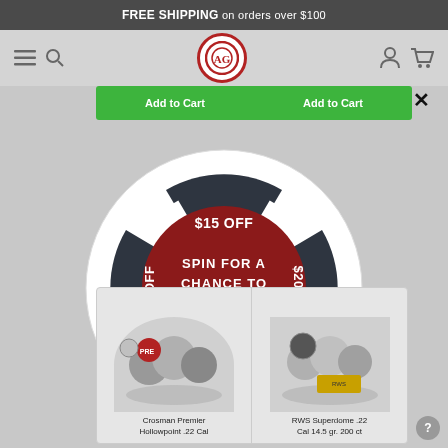FREE SHIPPING on orders over $100
[Figure (screenshot): Website navigation bar with hamburger menu, search icon, AG circular logo in red, user icon and cart icon]
Add to Cart   Add to Cart
[Figure (infographic): Spin wheel popup with four dark segments showing $15 OFF (top), $20 OFF (right), $5 OFF (bottom, upside down), $10 OFF (left), and a dark red center circle with text SPIN FOR A CHANCE TO SAVE!]
Crosman Premier Hollowpoint .22 Cal
RWS Superdome .22 Cal 14.5 gr. 200 ct